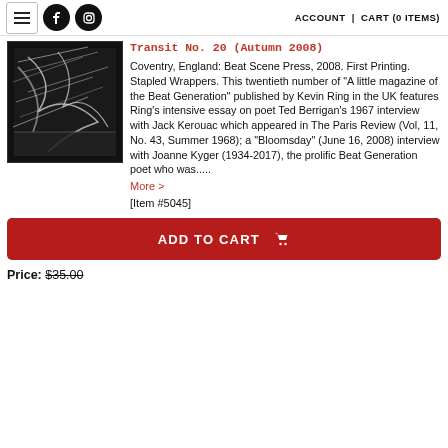≡  [Facebook] [Instagram]    ACCOUNT | CART (0 ITEMS)
Transit No. 20 (Autumn 2008)
Coventry, England: Beat Scene Press, 2008. First Printing. Stapled Wrappers. This twentieth number of "A little magazine of the Beat Generation" published by Kevin Ring in the UK features Ring's intensive essay on poet Ted Berrigan's 1967 interview with Jack Kerouac which appeared in The Paris Review (Vol, 11, No. 43, Summer 1968); a "Bloomsday" (June 16, 2008) interview with Joanne Kyger (1934-2017), the prolific Beat Generation poet who was.....
More >
[Item #5045]
ADD TO CART
Price: $35.00